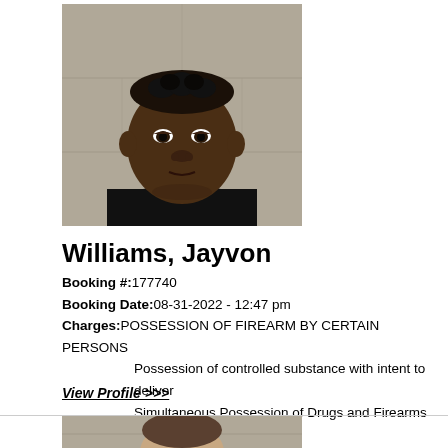[Figure (photo): Mugshot of Jayvon Williams, a young Black male with short dreadlocks wearing a black shirt, photographed against a gray concrete block wall background.]
Williams, Jayvon
Booking #:177740
Booking Date:08-31-2022 - 12:47 pm
Charges:POSSESSION OF FIREARM BY CERTAIN PERSONS
Possession of controlled substance with intent to deliver
Simultaneous Possession of Drugs and Firearms
View Profile >>>
[Figure (photo): Partial mugshot of a second individual, partially visible at the bottom of the page.]